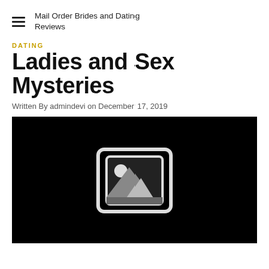Mail Order Brides and Dating Reviews
DATING
Ladies and Sex Mysteries
Written By admindevi on December 17, 2019
[Figure (photo): Black background image placeholder with a white image placeholder icon (landscape icon with mountain and circle) centered on the image area]